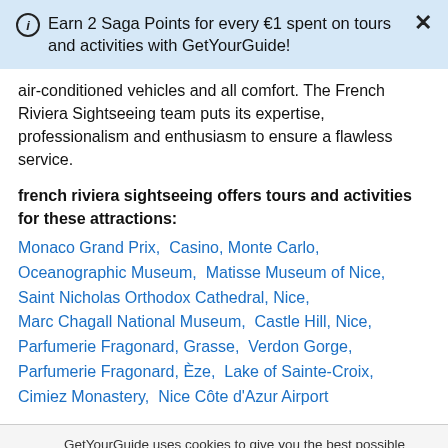Earn 2 Saga Points for every €1 spent on tours and activities with GetYourGuide!
air-conditioned vehicles and all comfort. The French Riviera Sightseeing team puts its expertise, professionalism and enthusiasm to ensure a flawless service.
french riviera sightseeing offers tours and activities for these attractions:
Monaco Grand Prix,  Casino, Monte Carlo,  Oceanographic Museum,  Matisse Museum of Nice,  Saint Nicholas Orthodox Cathedral, Nice,  Marc Chagall National Museum,  Castle Hill, Nice,  Parfumerie Fragonard, Grasse,  Verdon Gorge,  Parfumerie Fragonard, Èze,  Lake of Sainte-Croix,  Cimiez Monastery,  Nice Côte d'Azur Airport
GetYourGuide uses cookies to give you the best possible service. If you continue browsing, you agree to the use of